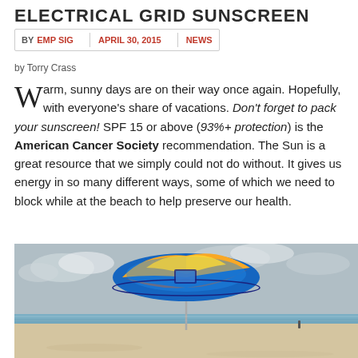ELECTRICAL GRID SUNSCREEN
BY EMP SIG   APRIL 30, 2015   NEWS
by Torry Crass
Warm, sunny days are on their way once again. Hopefully, with everyone's share of vacations. Don't forget to pack your sunscreen! SPF 15 or above (93%+ protection) is the American Cancer Society recommendation. The Sun is a great resource that we simply could not do without. It gives us energy in so many different ways, some of which we need to block while at the beach to help preserve our health.
[Figure (photo): A blue and yellow beach umbrella on a sandy beach with ocean and cloudy sky in the background, and a person visible in the distance.]